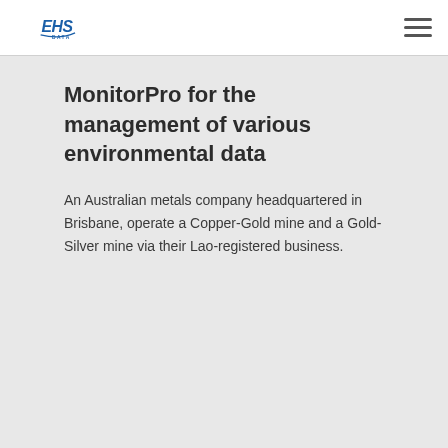EHS DATA logo; hamburger menu
MonitorPro for the management of various environmental data
An Australian metals company headquartered in Brisbane, operate a Copper-Gold mine and a Gold-Silver mine via their Lao-registered business.